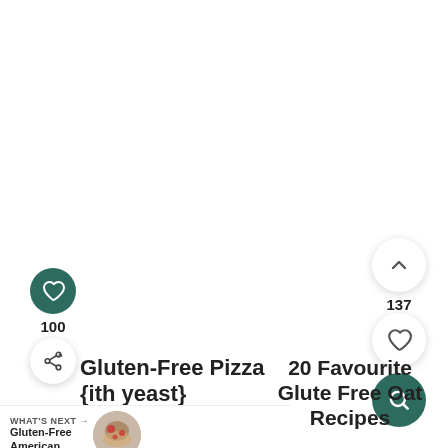[Figure (screenshot): Mobile app UI showing recipe cards with social interaction buttons. Left side: dark teal heart button with count 100, share button. Right side: chevron up button, count 137, heart button, dark teal search button. Left card title: 'Gluten-Free Pizza {with yeast}'. Right card title: '20 Favourite Gluten-Free Oat Recipes'. Bottom bar: WHAT'S NEXT arrow, 'Gluten-Free American...' with circular food photo.]